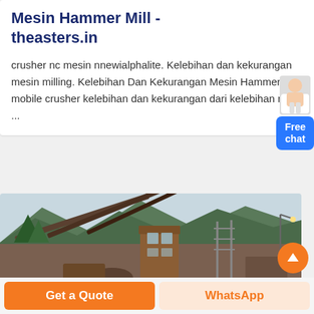Mesin Hammer Mill - theasters.in
crusher nc mesin nnewialphalite. Kelebihan dan kekurangan mesin milling. Kelebihan Dan Kekurangan Mesin Hammer Mill mobile crusher kelebihan dan kekurangan dari kelebihan mesin ...
[Figure (photo): Industrial mining or crushing facility with conveyor belts and a multi-story orange/brown control tower structure, with green forested mountains in the background under an overcast sky.]
Get a Quote
WhatsApp